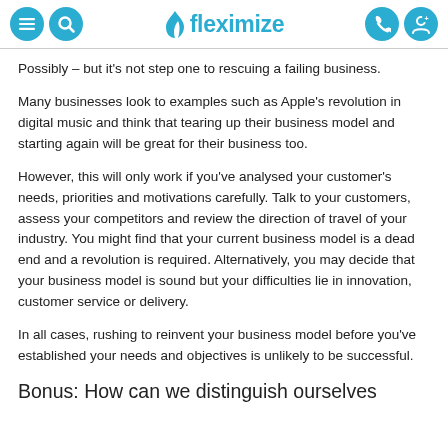fleximize
Possibly – but it's not step one to rescuing a failing business.
Many businesses look to examples such as Apple's revolution in digital music and think that tearing up their business model and starting again will be great for their business too.
However, this will only work if you've analysed your customer's needs, priorities and motivations carefully. Talk to your customers, assess your competitors and review the direction of travel of your industry. You might find that your current business model is a dead end and a revolution is required. Alternatively, you may decide that your business model is sound but your difficulties lie in innovation, customer service or delivery.
In all cases, rushing to reinvent your business model before you've established your needs and objectives is unlikely to be successful.
Bonus: How can we distinguish ourselves